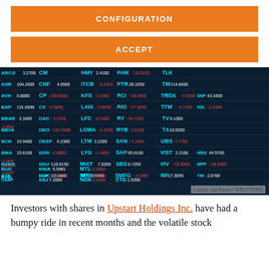[Figure (screenshot): Two orange buttons labeled CONFIGURATION and ACCEPT on a white background]
[Figure (photo): Stock market ticker board showing various stock symbols and prices in blue and red on a dark background. Photo credit: Lucas Jackson / REUTERS]
Lucas Jackson / REUTERS
Investors with shares in Upstart Holdings Inc. have had a bumpy ride in recent months and the volatile stock